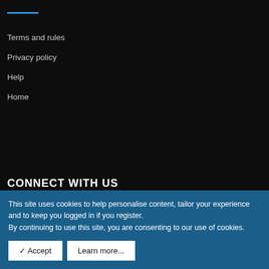Terms and rules
Privacy policy
Help
Home
CONNECT WITH US
[Figure (other): Row of 6 social media icon buttons: Facebook, Twitter, YouTube, Instagram, Vimeo, RSS feed]
This site uses cookies to help personalise content, tailor your experience and to keep you logged in if you register.
By continuing to use this site, you are consenting to our use of cookies.
✓ Accept   Learn more...